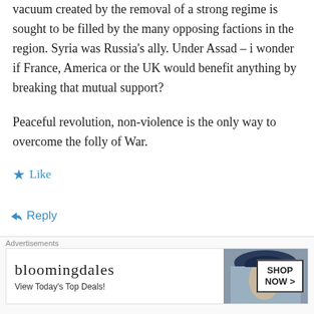vacuum created by the removal of a strong regime is sought to be filled by the many opposing factions in the region. Syria was Russia's ally. Under Assad – i wonder if France, America or the UK would benefit anything by breaking that mutual support?
Peaceful revolution, non-violence is the only way to overcome the folly of War.
★ Like
↵ Reply
waynegaffo on April 29, 2013 at 1:34 am
[Figure (screenshot): Bloomingdale's advertisement banner: logo text 'bloomingdales', tagline 'View Today's Top Deals!', image of woman in hat, SHOP NOW button]